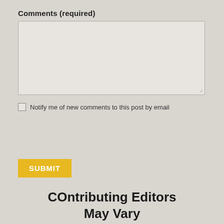Comments (required)
[Figure (screenshot): Empty textarea input box with light gray background and resize handle at bottom-right corner]
Notify me of new comments to this post by email
SUBMIT
COntributing Editors May Vary
[Figure (illustration): CEX.IO cryptocurrency exchange advertisement showing 1 BITCOIN = $21017.9 with teal border and dark navy background]